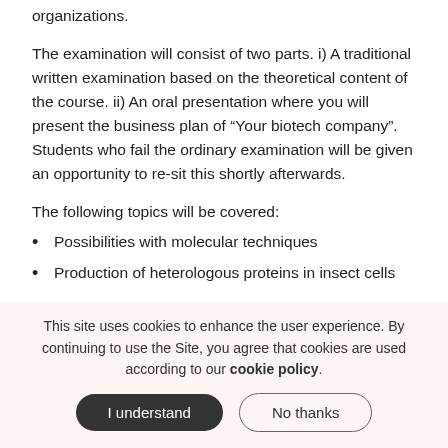organizations.
The examination will consist of two parts. i) A traditional written examination based on the theoretical content of the course. ii) An oral presentation where you will present the business plan of “Your biotech company”. Students who fail the ordinary examination will be given an opportunity to re-sit this shortly afterwards.
The following topics will be covered:
Possibilities with molecular techniques
Production of heterologous proteins in insect cells
This site uses cookies to enhance the user experience. By continuing to use the Site, you agree that cookies are used according to our cookie policy.